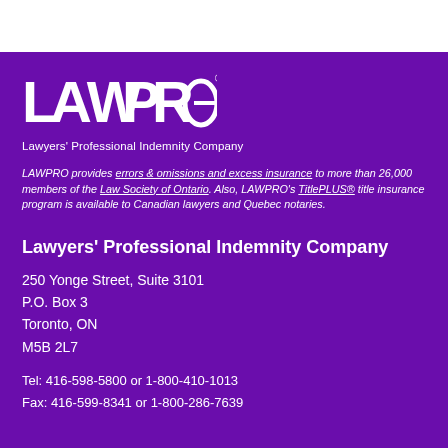[Figure (logo): LAWPRO logo in white on purple background]
Lawyers' Professional Indemnity Company
LAWPRO provides errors & omissions and excess insurance to more than 26,000 members of the Law Society of Ontario. Also, LAWPRO's TitlePLUS® title insurance program is available to Canadian lawyers and Quebec notaries.
Lawyers' Professional Indemnity Company
250 Yonge Street, Suite 3101
P.O. Box 3
Toronto, ON
M5B 2L7
Tel: 416-598-5800 or 1-800-410-1013
Fax: 416-599-8341 or 1-800-286-7639